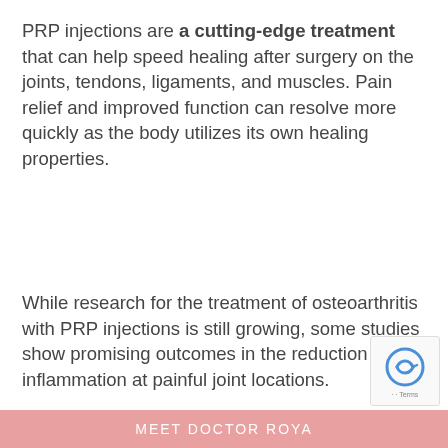PRP injections are a cutting-edge treatment that can help speed healing after surgery on the joints, tendons, ligaments, and muscles. Pain relief and improved function can resolve more quickly as the body utilizes its own healing properties.
While research for the treatment of osteoarthritis with PRP injections is still growing, some studies show promising outcomes in the reduction of inflammation at painful joint locations.
MEET DOCTOR ROYA